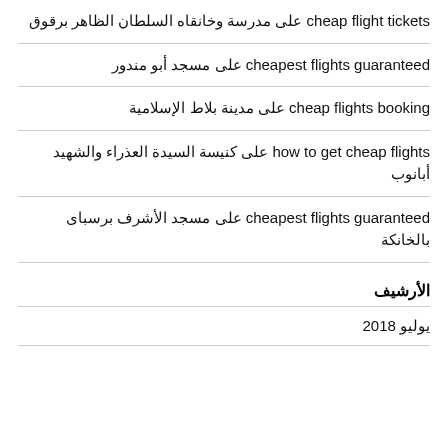cheap flight tickets على مدرسة وخانقاه السلطان الظاهر برقوق
cheapest flights guaranteed على مسجد أبو مندور
cheap flights booking على مدينة بلاط الإسلامية
how to get cheap flights على كنيسة السيدة العذراء والشهيد أبانوب
cheapest flights guaranteed على مسجد الأشرف برسباى بالخانكة
الأرشيف
يوليو 2018